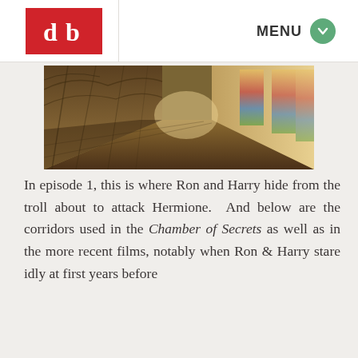db | MENU
[Figure (photo): Stone corridor of a Gothic cathedral cloister with arched vaulted ceiling, stone walls, and stained glass windows at the far end. Warm HDR lighting highlights the detailed stonework.]
In episode 1, this is where Ron and Harry hide from the troll about to attack Hermione.  And below are the corridors used in the Chamber of Secrets as well as in the more recent films, notably when Ron & Harry stare idly at first years before